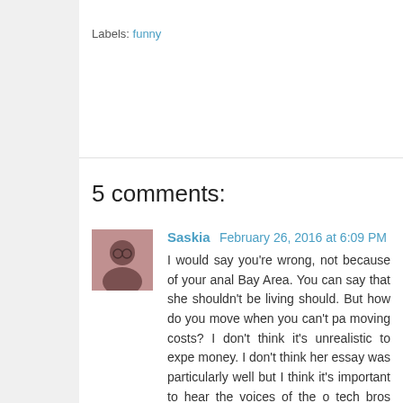Labels: funny
5 comments:
Saskia  February 26, 2016 at 6:09 PM
I would say you're wrong, not because of your anal Bay Area. You can say that she shouldn't be living should. But how do you move when you can't pa moving costs? I don't think it's unrealistic to expe money. I don't think her essay was particularly well but I think it's important to hear the voices of the o tech bros making six figures, but you also have the who have to pay the same prices (even if you move and then you've got gas and commuting times--co you're in Utah, like I was until a couple months ag sometimes to go 8 miles, let only the 40 or so you'd ignoring all the blue collar workers, and teachers, How does a teacher earning 45,000 a year live here